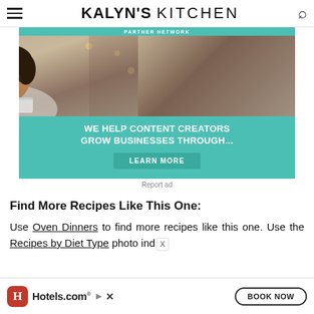KALYN'S KITCHEN
[Figure (photo): Advertisement banner: Partner Network. Photo of a smiling woman with glasses using a laptop in a cafe setting. Teal background with text 'WE HELP CONTENT CREATORS GROW BUSINESSES THROUGH...' and a 'LEARN MORE' button.]
Report ad
Find More Recipes Like This One:
Use Oven Dinners to find more recipes like this one. Use the Recipes by Diet Type photo inde
[Figure (photo): Hotels.com advertisement banner with red logo icon, Hotels.com name, and BOOK NOW button]